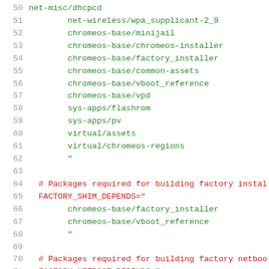Code listing lines 50-71 showing shell script package dependencies
50  net-misc/dhcpcd
51      net-wireless/wpa_supplicant-2_9
52      chromeos-base/minijail
53      chromeos-base/chromeos-installer
54      chromeos-base/factory_installer
55      chromeos-base/common-assets
56      chromeos-base/vboot_reference
57      chromeos-base/vpd
58      sys-apps/flashrom
59      sys-apps/pv
60      virtual/assets
61      virtual/chromeos-regions
62      "
63
64  # Packages required for building factory install
65  FACTORY_SHIM_DEPENDS="
66      chromeos-base/factory_installer
67      chromeos-base/vboot_reference
68      "
69
70  # Packages required for building factory netboot
71  FACTORY_NETBOOT_DEPENDS="